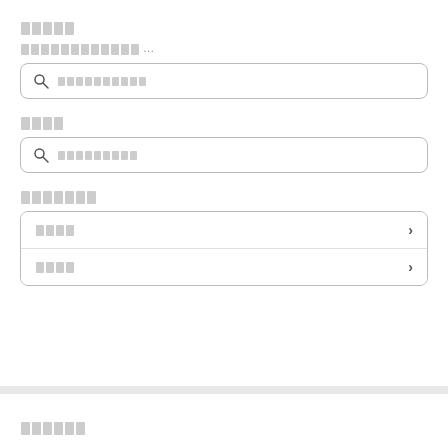█████
████████████ ...
[Figure (other): Search input box with magnifying glass icon and placeholder text]
████
[Figure (other): Search input box with magnifying glass icon and placeholder text]
███████
████
████
██████